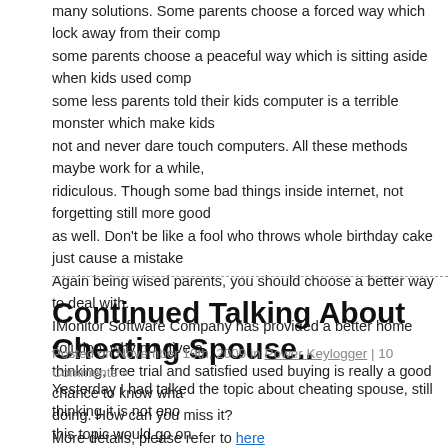many solutions. Some parents choose a forced way which lock away from their computer; some parents choose a peaceful way which is sitting aside when kids used computers; some less parents told their kids computer is a terrible monster which make kids fear and not and never dare touch computers. All these methods maybe work for a while, but all ridiculous. Though some bad things inside internet, not forgetting still more good things there as well. Don't be like a fool who throws whole birthday cake just cause a mistake on it. Again being wised parents, you should choose a better way to deal with. IMonitor Software Company has provided a better home solution, why not give a try without thinking, free trial and satisfied used buying is really a good chance to know what kids doing. How can you miss it? More details, please refer to here
Continued Talking About Cheating Spouse..
Posted on November 19th, 2009 in Power Keylogger | 10 Comments »
Yesterday I had talked the topic about cheating spouse, still thinking it is not enough, so this topic would go on. This day, what I am ready to talk about is the bad effects of cheating spouse, which I call negative, because I think cheating spouse lead to not just opposite or passive result, but collapsed disaster to family. If the couple has no kids, that is would be less bad, or it would become a long year shadow memory for most kids. It is really unfair for the... Definitely nothing. But remaining with...